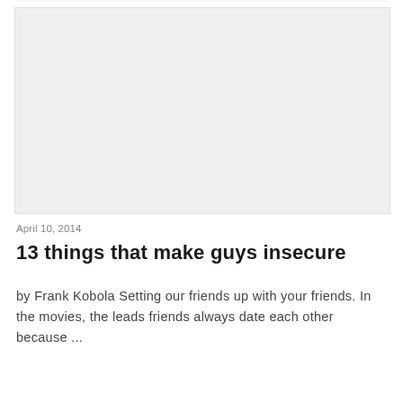[Figure (other): Light gray rectangular image placeholder area]
April 10, 2014
13 things that make guys insecure
by Frank Kobola Setting our friends up with your friends. In the movies, the leads friends always date each other because ...